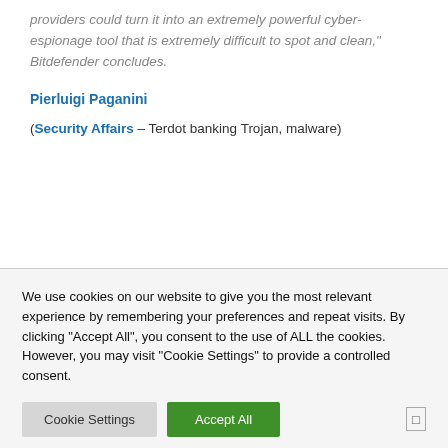providers could turn it into an extremely powerful cyber-espionage tool that is extremely difficult to spot and clean," Bitdefender concludes.
Pierluigi Paganini
(Security Affairs – Terdot banking Trojan, malware)
We use cookies on our website to give you the most relevant experience by remembering your preferences and repeat visits. By clicking "Accept All", you consent to the use of ALL the cookies. However, you may visit "Cookie Settings" to provide a controlled consent.